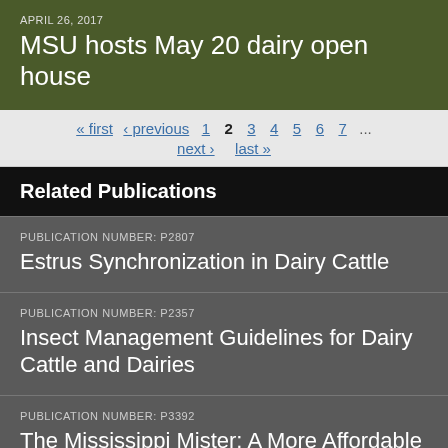APRIL 26, 2017
MSU hosts May 20 dairy open house
« first ‹ previous 1 2 3 4 5 6 7 ... next › last »
Related Publications
PUBLICATION NUMBER: P2807
Estrus Synchronization in Dairy Cattle
PUBLICATION NUMBER: P2357
Insect Management Guidelines for Dairy Cattle and Dairies
PUBLICATION NUMBER: P3392
The Mississippi Mister: A More Affordable Way to Cool Pasture Animals